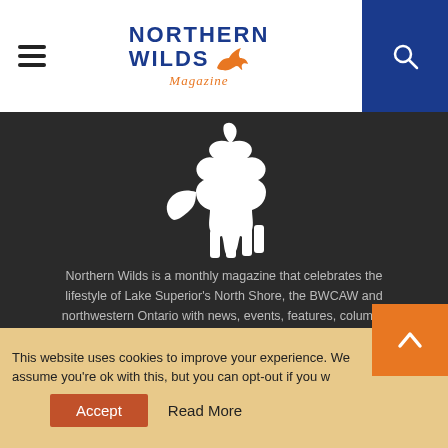Northern Wilds Magazine — header with hamburger menu, logo, and search icon
[Figure (illustration): White silhouette of a howling wolf on a dark grey background]
Northern Wilds is a monthly magazine that celebrates the lifestyle of Lake Superior's North Shore, the BWCAW and northwestern Ontario with news, events, features, columns and outstanding photography.
[Figure (infographic): Row of social media icons: Facebook, Instagram, Pinterest, LinkedIn, Email]
This website uses cookies to improve your experience. We assume you're ok with this, but you can opt-out if you wish. Accept Read More